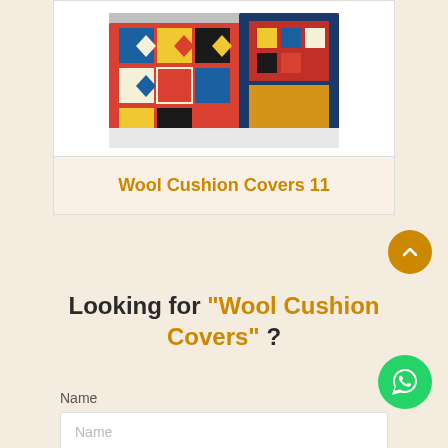[Figure (photo): Colorful kilim/wool cushion covers with geometric patterns in red, blue, yellow, black and cream, arranged on a white surface]
Wool Cushion Covers 11
Looking for "Wool Cushion Covers" ?
Name